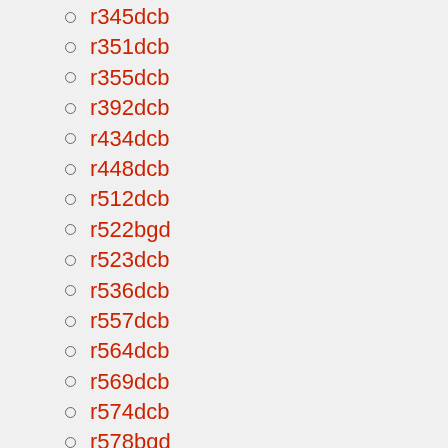r345dcb
r351dcb
r355dcb
r392dcb
r434dcb
r448dcb
r512dcb
r522bgd
r523dcb
r536dcb
r557dcb
r564dcb
r569dcb
r574dcb
r578bgd
r589dcb
r602dcb
rado